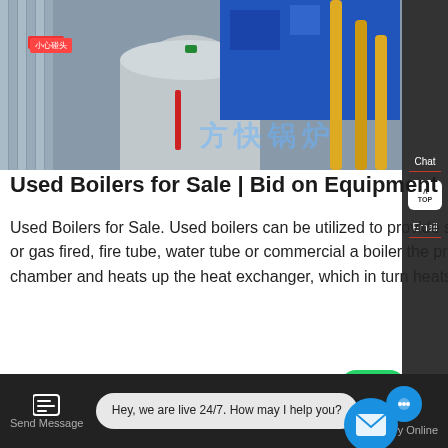[Figure (photo): Industrial boiler equipment showing large cylindrical tanks, blue machinery, and yellow gas pipes. Chinese text watermark visible.]
Used Boilers for Sale | Bid on Equipment
Used Boilers for Sale. Used boilers can be utilized to provide steam or hot water for any industrial plant. Whether electric, or gas fired, fire tube, water tube or commercial a boiler the process where water or oil burns inside the combustion chamber and heats up the heat exchanger, which in turn heats or steam.
Learn More
Contact us now!
Chat
TOP
Email
Send Message
Hey, we are live 24/7. How may I help you?
Inquiry Online